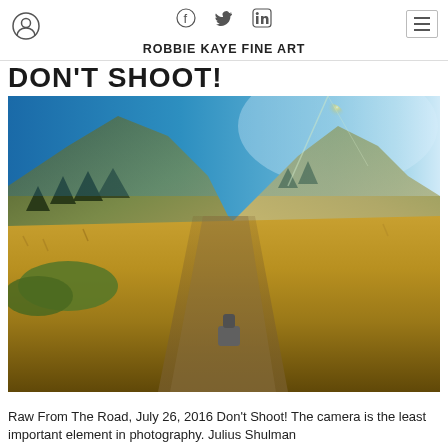ROBBIE KAYE FINE ART
DON'T SHOOT!
[Figure (photo): A dog standing on a dirt trail through golden dry grassland with rolling hills and mountains in the background under a bright blue sky with sun glare]
Raw From The Road, July 26, 2016 Don't Shoot! The camera is the least important element in photography. Julius Shulman